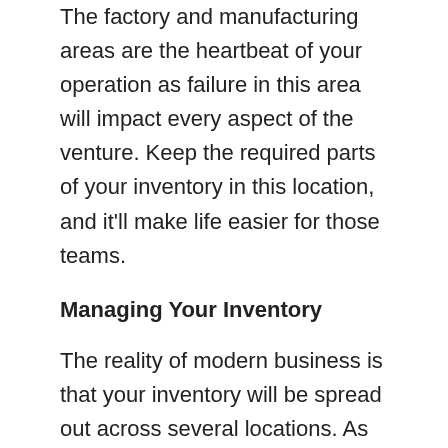The factory and manufacturing areas are the heartbeat of your operation as failure in this area will impact every aspect of the venture. Keep the required parts of your inventory in this location, and it'll make life easier for those teams.
Managing Your Inventory
The reality of modern business is that your inventory will be spread out across several locations. As such, employing a winning management strategy is vital. Cloud-based inventory management that uses real-time tracking is the best solution. Visit https://www.zoho.com/ to discover more. This modern technology can save time, money, and your sanity as you bid to manage the situation.
Inventory management alone doesn't guarantee success